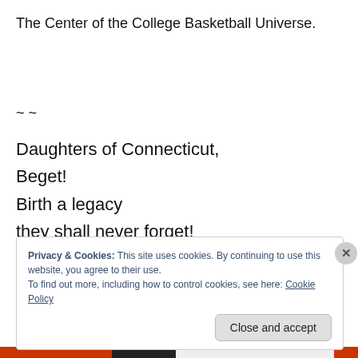The Center of the College Basketball Universe.
~ ~
Daughters of Connecticut,
Beget!
Birth a legacy
they shall never forget!
Privacy & Cookies: This site uses cookies. By continuing to use this website, you agree to their use.
To find out more, including how to control cookies, see here: Cookie Policy
Close and accept